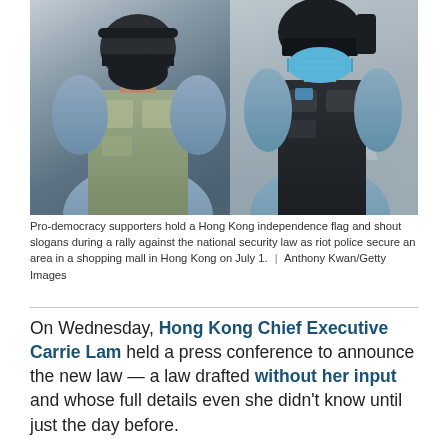[Figure (photo): Two riot police officers in full gear including helmets, tactical vests, and face masks (one blue surgical mask, one black mask) standing in a shopping mall area. The officers are photographed from the chest up.]
Pro-democracy supporters hold a Hong Kong independence flag and shout slogans during a rally against the national security law as riot police secure an area in a shopping mall in Hong Kong on July 1.  |  Anthony Kwan/Getty Images
On Wednesday, Hong Kong Chief Executive Carrie Lam held a press conference to announce the new law — a law drafted without her input and whose full details even she didn't know until just the day before.
Outside, thousands of Hongkongers took to the